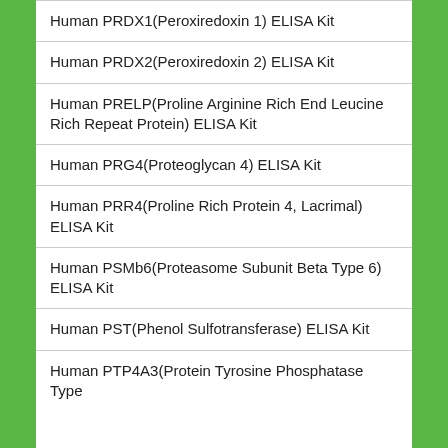Human PRDX1(Peroxiredoxin 1) ELISA Kit
Human PRDX2(Peroxiredoxin 2) ELISA Kit
Human PRELP(Proline Arginine Rich End Leucine Rich Repeat Protein) ELISA Kit
Human PRG4(Proteoglycan 4) ELISA Kit
Human PRR4(Proline Rich Protein 4, Lacrimal) ELISA Kit
Human PSMb6(Proteasome Subunit Beta Type 6) ELISA Kit
Human PST(Phenol Sulfotransferase) ELISA Kit
Human PTP4A3(Protein Tyrosine Phosphatase Type IVA 3) ELISA Kit